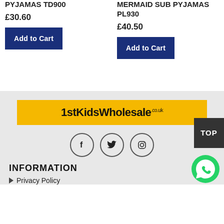PYJAMAS TD900
£30.60
Add to Cart
MERMAID SUB PYJAMAS PL930
£40.50
Add to Cart
[Figure (logo): 1stKidsWholesale.co.uk logo on yellow background]
[Figure (infographic): Social media icons: Facebook, Twitter, Instagram in circular outlines]
TOP
INFORMATION
Privacy Policy
[Figure (illustration): WhatsApp green phone icon button]